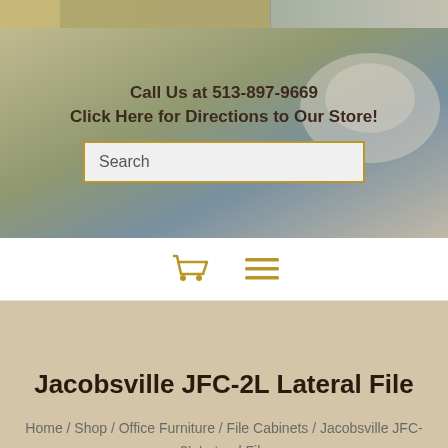[Figure (photo): Top decorative header image with muted greenish-brown tones, appears to be a partial photo of an office or room scene]
Call Us at 513-897-9669
Click Here for Directions to Our Store!
Search
[Figure (screenshot): Navigation bar with shopping cart icon and hamburger menu icon in gold/amber color]
Jacobsville JFC-2L Lateral File
Home / Shop / Office Furniture / File Cabinets / Jacobsville JFC-2L Lateral File
Call Now!